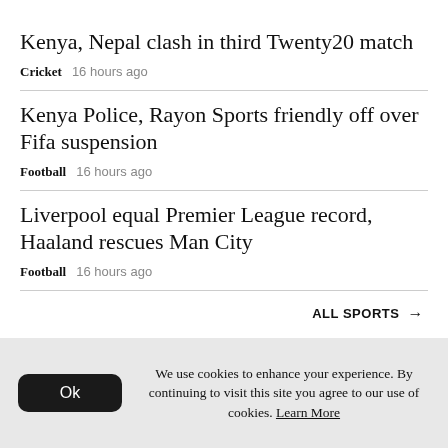Kenya, Nepal clash in third Twenty20 match
Cricket   16 hours ago
Kenya Police, Rayon Sports friendly off over Fifa suspension
Football   16 hours ago
Liverpool equal Premier League record, Haaland rescues Man City
Football   16 hours ago
ALL SPORTS →
We use cookies to enhance your experience. By continuing to visit this site you agree to our use of cookies. Learn More